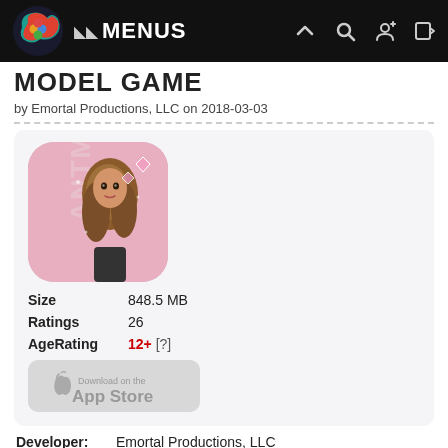MENUS
MODEL GAME
by Emortal Productions, LLC on 2018-03-03
[Figure (screenshot): App icon for ANTM Model Game showing a stylized female model with long brown hair on a pink background with 'ANTM' text on the left side]
Size  848.5 MB
Ratings  26
AgeRating  12+ [?]
[Figure (screenshot): Download on the App Store button]
Developer:  Emortal Productions, LLC